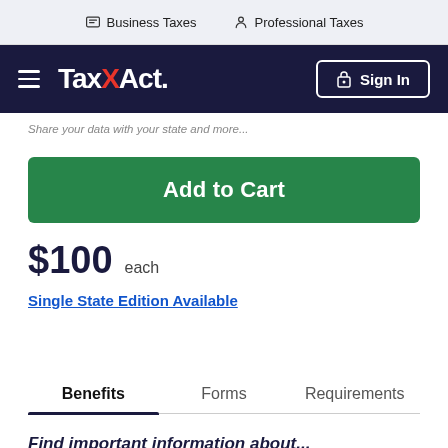Business Taxes   Professional Taxes
TaxAct. Sign In
Share your data with your state and more.
Add to Cart
$100 each
Single State Edition Available
Benefits   Forms   Requirements